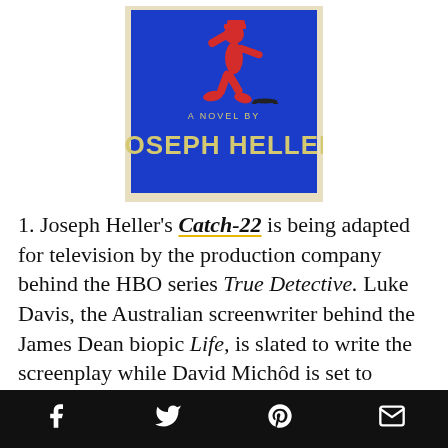[Figure (illustration): Book cover of Catch-22 by Joseph Heller. Blue background with a red illustrated figure of a running/jumping person. Text reads 'A NOVEL BY JOSEPH HELLER' in yellow bold letters at the bottom. A small aircraft silhouette is visible near the top text.]
1. Joseph Heller's Catch-22 is being adapted for television by the production company behind the HBO series True Detective. Luke Davis, the Australian screenwriter behind the James Dean biopic Life, is slated to write the screenplay while David Michôd is set to direct. The book was previously made into a film starring Alan Alda and featuring many other stars including Orson Welles
Social share bar with Facebook, Twitter, Pinterest, and email icons